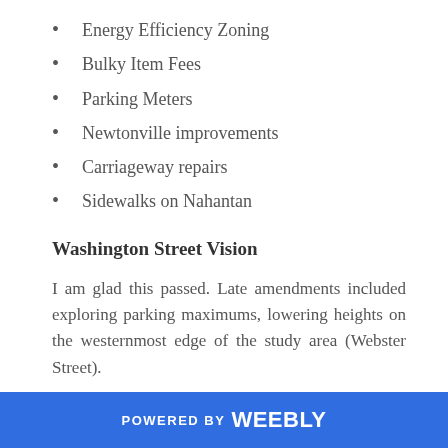Energy Efficiency Zoning
Bulky Item Fees
Parking Meters
Newtonville improvements
Carriageway repairs
Sidewalks on Nahantan
Washington Street Vision
I am glad this passed. Late amendments included exploring parking maximums, lowering heights on the westernmost edge of the study area (Webster Street).
Some of the comments both in the Chamber and in letters demonstrates conflation of vision and zoning.
POWERED BY weebly